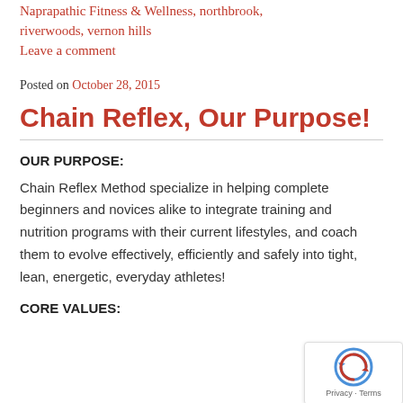Naprapathic Fitness & Wellness, northbrook, riverwoods, vernon hills
Leave a comment
Posted on October 28, 2015
Chain Reflex, Our Purpose!
OUR PURPOSE:
Chain Reflex Method specialize in helping complete beginners and novices alike to integrate training and nutrition programs with their current lifestyles, and coach them to evolve effectively, efficiently and safely into tight, lean, energetic, everyday athletes!
CORE VALUES: